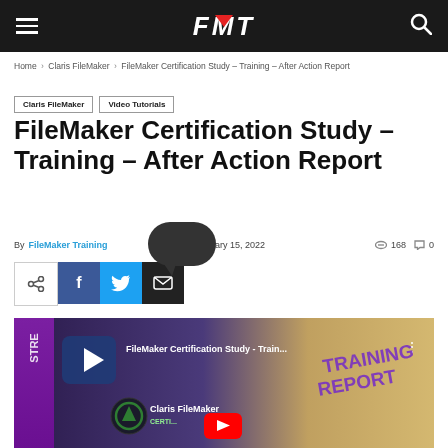FMT
Home > Claris FileMaker > FileMaker Certification Study – Training – After Action Report
Claris FileMaker
Video Tutorials
FileMaker Certification Study – Training – After Action Report
By FileMaker Training   February 15, 2022   168   0
[Figure (screenshot): Video thumbnail for FileMaker Certification Study - Train... showing YouTube play button, Claris FileMaker certification imagery, purple TRAINING REPORT diagonal text overlay]